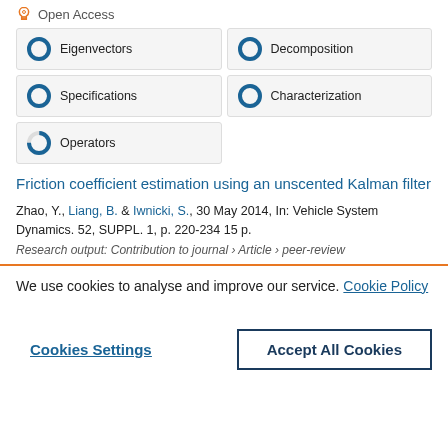Open Access
[Figure (infographic): Six donut/pie chart badges showing topic coverage: Eigenvectors (100%), Decomposition (100%), Specifications (100%), Characterization (100%), Operators (75%)]
Friction coefficient estimation using an unscented Kalman filter
Zhao, Y., Liang, B. & Iwnicki, S., 30 May 2014, In: Vehicle System Dynamics. 52, SUPPL. 1, p. 220-234 15 p.
Research output: Contribution to journal › Article › peer-review
We use cookies to analyse and improve our service. Cookie Policy
Cookies Settings
Accept All Cookies